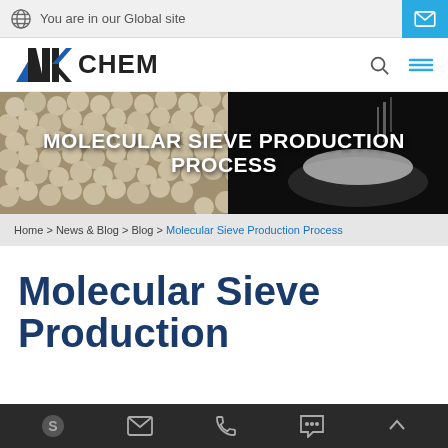You are in our Global site
[Figure (logo): NK CHEM logo with geometric N and K shapes in blue and black, followed by bold text CHEM]
[Figure (photo): Hero banner with molecular sieve beads on left and white powder in bowl on right, overlaid with white bold text: MOLECULAR SIEVE PRODUCTION PROCESS]
Home > News & Blog > Blog > Molecular Sieve Production Process
Molecular Sieve Production
Bottom navigation toolbar with Skype, email, phone, chat, and scroll-up icons